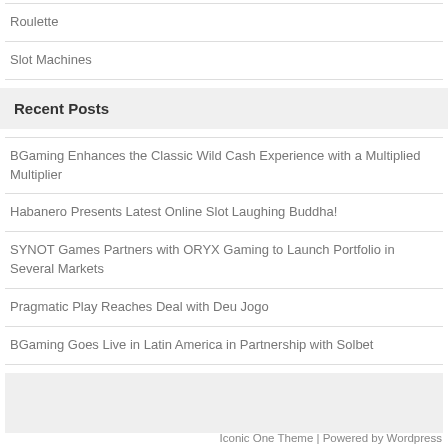Roulette
Slot Machines
Recent Posts
BGaming Enhances the Classic Wild Cash Experience with a Multiplied Multiplier
Habanero Presents Latest Online Slot Laughing Buddha!
SYNOT Games Partners with ORYX Gaming to Launch Portfolio in Several Markets
Pragmatic Play Reaches Deal with Deu Jogo
BGaming Goes Live in Latin America in Partnership with Solbet
Iconic One Theme | Powered by Wordpress